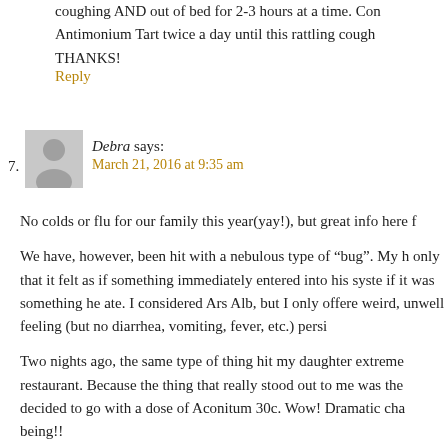coughing AND out of bed for 2-3 hours at a time. Antimonium Tart twice a day until this rattling cough THANKS!
Reply
7. Debra says: March 21, 2016 at 9:35 am
No colds or flu for our family this year(yay!), but great info here f
We have, however, been hit with a nebulous type of “bug”. My h only that it felt as if something immediately entered into his syst if it was something he ate. I considered Ars Alb, but I only offere weird, unwell feeling (but no diarrhea, vomiting, fever, etc.) persi
Two nights ago, the same type of thing hit my daughter extreme restaurant. Because the thing that really stood out to me was the decided to go with a dose of Aconitum 30c. Wow! Dramatic cha being!!
Ever since I read the “I want that! Confident mothering” blog, I
Reply